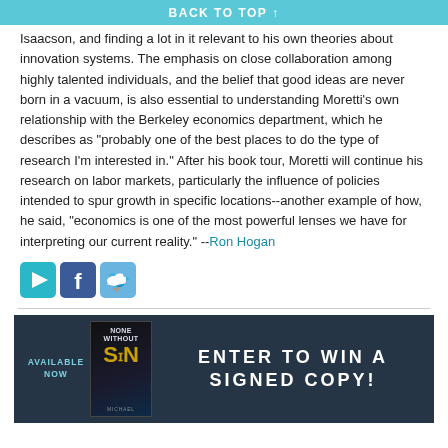BACK TO TOP ↑
Isaacson, and finding a lot in it relevant to his own theories about innovation systems. The emphasis on close collaboration among highly talented individuals, and the belief that good ideas are never born in a vacuum, is also essential to understanding Moretti's own relationship with the Berkeley economics department, which he describes as "probably one of the best places to do the type of research I'm interested in." After his book tour, Moretti will continue his research on labor markets, particularly the influence of policies intended to spur growth in specific locations--another example of how, he said, "economics is one of the most powerful lenses we have for interpreting our current reality." --Ron Hogan
[Figure (infographic): Three social media sharing icons: a play/share icon (teal), a Facebook icon (blue), and a Twitter bird icon (light blue)]
[Figure (infographic): Promotional banner for the book 'None Without Sin' with dark teal background. Left side shows 'AVAILABLE NOW' text in teal. Center shows the book cover. Right side reads 'ENTER TO WIN A SIGNED COPY!' in large white bold letters.]